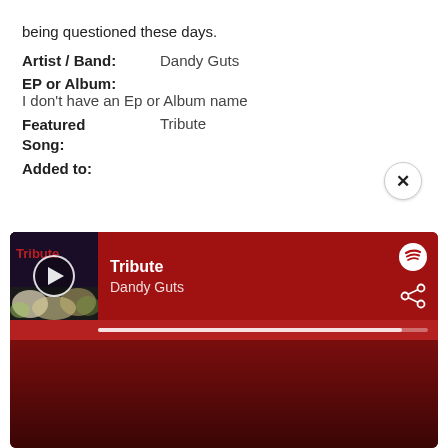being questioned these days.
Artist / Band:    Dandy Guts
EP or Album:
I don't have an Ep or Album name
Featured Song:    Tribute
Added to:
[Figure (screenshot): Spotify music player widget showing song 'Tribute' by Dandy Guts with album art, play button, progress bar, Spotify logo and share icon on a dark red background]